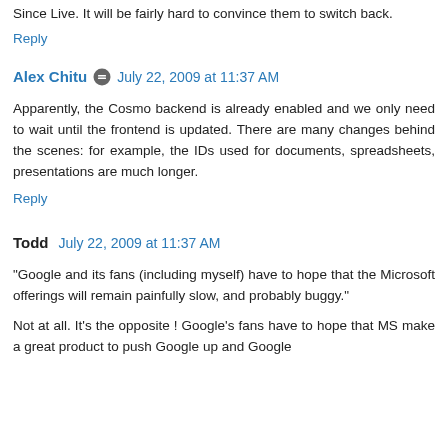Since Live. It will be fairly hard to convince them to switch back.
Reply
Alex Chitu  July 22, 2009 at 11:37 AM
Apparently, the Cosmo backend is already enabled and we only need to wait until the frontend is updated. There are many changes behind the scenes: for example, the IDs used for documents, spreadsheets, presentations are much longer.
Reply
Todd  July 22, 2009 at 11:37 AM
"Google and its fans (including myself) have to hope that the Microsoft offerings will remain painfully slow, and probably buggy."
Not at all. It's the opposite ! Google's fans have to hope that MS make a great product to push Google up and Google